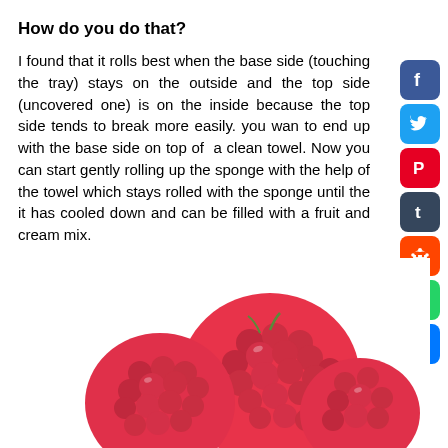How do you do that?
I found that it rolls best when the base side (touching the tray) stays on the outside and the top side (uncovered one) is on the inside because the top side tends to break more easily. you wan to end up with the base side on top of  a clean towel. Now you can start gently rolling up the sponge with the help of the towel which stays rolled with the sponge until the it has cooled down and can be filled with a fruit and cream mix.
Approximate amount needed:
[Figure (photo): Close-up photo of fresh red raspberries at the bottom of the page]